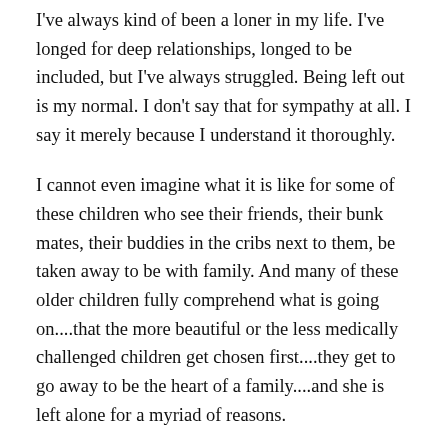I've always kind of been a loner in my life. I've longed for deep relationships, longed to be included, but I've always struggled. Being left out is my normal. I don't say that for sympathy at all. I say it merely because I understand it thoroughly.
I cannot even imagine what it is like for some of these children who see their friends, their bunk mates, their buddies in the cribs next to them, be taken away to be with family. And many of these older children fully comprehend what is going on....that the more beautiful or the less medically challenged children get chosen first....they get to go away to be the heart of a family....and she is left alone for a myriad of reasons.
This just kills me.